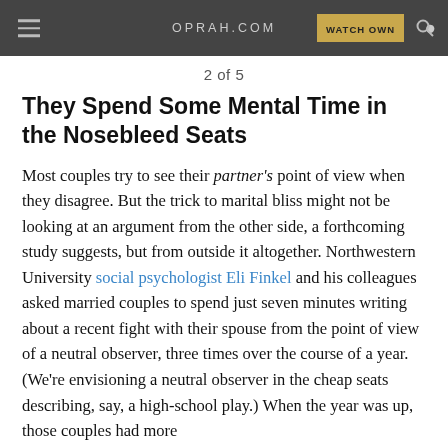≡   OPRAH.COM   WATCH OWN 🔍
2 of 5
They Spend Some Mental Time in the Nosebleed Seats
Most couples try to see their partner's point of view when they disagree. But the trick to marital bliss might not be looking at an argument from the other side, a forthcoming study suggests, but from outside it altogether. Northwestern University social psychologist Eli Finkel and his colleagues asked married couples to spend just seven minutes writing about a recent fight with their spouse from the point of view of a neutral observer, three times over the course of a year. (We're envisioning a neutral observer in the cheap seats describing, say, a high-school play.) When the year was up, those couples had more